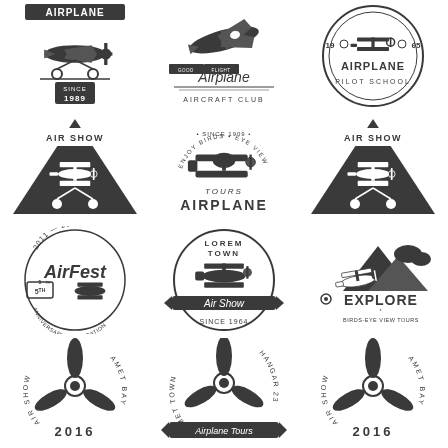[Figure (illustration): Vintage airplane badge with 'AIRPLANE SINCE 1989' text and propeller plane graphic]
[Figure (illustration): Vintage badge with 'GOOD FLIGHT Airplane AIRCRAFT CLUB' text and airplane graphic]
[Figure (illustration): Circular badge '1985 AIRPLANE PILOT SCHOOL' with biplane graphic]
[Figure (illustration): Triangular dark badge 'AIR SHOW' with WWI biplane]
[Figure (illustration): Badge 'ENJOY BIRDS EYE VIEW SINCE 1909 TOURS AIRPLANE' with biplane]
[Figure (illustration): Triangular dark badge 'AIR SHOW' with WWI biplane (duplicate)]
[Figure (illustration): Circular badge 'AirFest 5TH 2011-2016 ANNIVERSARY CELEBRATION' with vintage plane]
[Figure (illustration): Circular badge 'LOREM TOWN Air Show SINCE 1964' with biplane]
[Figure (illustration): Mountain scene badge 'EXPLORE BIRDS-EYE VIEW TOURS' with airplane]
[Figure (illustration): Propeller badge 'AIR SHOW AMET BAY 2016']
[Figure (illustration): Propeller badge 'AMET TOWN HANGAR 23 Airplane Tours']
[Figure (illustration): Propeller badge 'AIR SHOW AMET BAY 2016' (duplicate)]